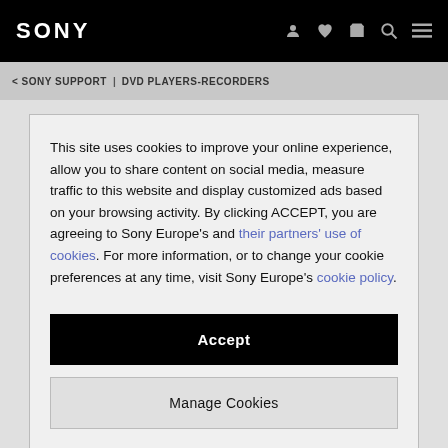SONY
< SONY SUPPORT | DVD PLAYERS-RECORDERS
This site uses cookies to improve your online experience, allow you to share content on social media, measure traffic to this website and display customized ads based on your browsing activity. By clicking ACCEPT, you are agreeing to Sony Europe's and their partners' use of cookies. For more information, or to change your cookie preferences at any time, visit Sony Europe's cookie policy.
Accept
Manage Cookies